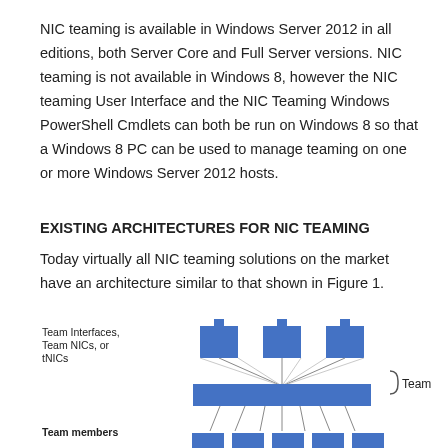NIC teaming is available in Windows Server 2012 in all editions, both Server Core and Full Server versions. NIC teaming is not available in Windows 8, however the NIC teaming User Interface and the NIC Teaming Windows PowerShell Cmdlets can both be run on Windows 8 so that a Windows 8 PC can be used to manage teaming on one or more Windows Server 2012 hosts.
EXISTING ARCHITECTURES FOR NIC TEAMING
Today virtually all NIC teaming solutions on the market have an architecture similar to that shown in Figure 1.
[Figure (schematic): Network diagram showing NIC teaming architecture with Team Interfaces/Team NICs/tNICs at the top connected to a central Team bar, which connects down to Team members at the bottom. Labels: 'Team Interfaces, Team NICs, or tNICs', 'Team', 'Team members'.]